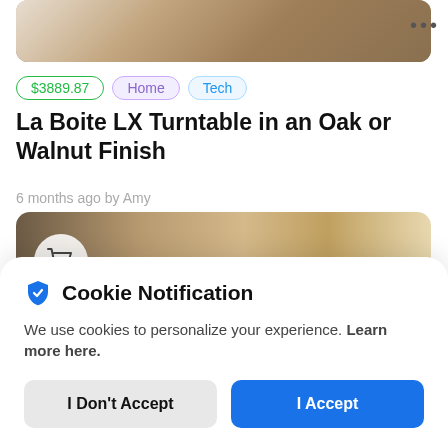[Figure (photo): Top partial product photo showing a wooden surface]
$3889.87  Home  Tech
La Boite LX Turntable in an Oak or Walnut Finish
6 months ago by Amy
[Figure (photo): Product image showing rocky/stone textured items with a shopping cart icon overlay]
Cookie Notification
We use cookies to personalize your experience. Learn more here.
I Don't Accept
I Accept